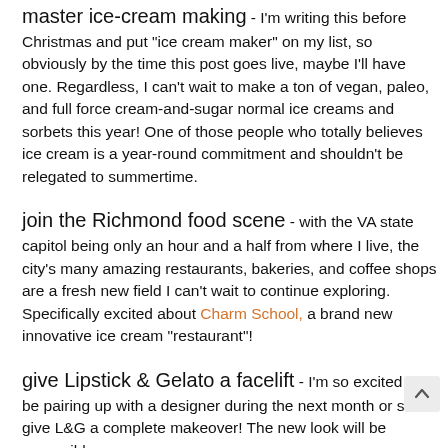master ice-cream making - I'm writing this before Christmas and put "ice cream maker" on my list, so obviously by the time this post goes live, maybe I'll have one. Regardless, I can't wait to make a ton of vegan, paleo, and full force cream-and-sugar normal ice creams and sorbets this year! One of those people who totally believes ice cream is a year-round commitment and shouldn't be relegated to summertime.
join the Richmond food scene - with the VA state capitol being only an hour and a half from where I live, the city's many amazing restaurants, bakeries, and coffee shops are a fresh new field I can't wait to continue exploring. Specifically excited about Charm School, a brand new innovative ice cream "restaurant"!
give Lipstick & Gelato a facelift - I'm so excited to be pairing up with a designer during the next month or so to give L&G a complete makeover! The new look will be accessible,